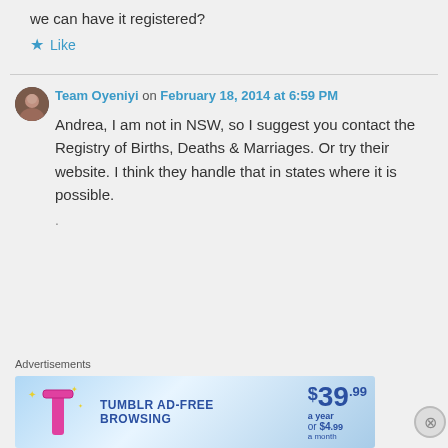we can have it registered?
Like
Team Oyeniyi on February 18, 2014 at 6:59 PM
Andrea, I am not in NSW, so I suggest you contact the Registry of Births, Deaths & Marriages. Or try their website. I think they handle that in states where it is possible.
Advertisements
[Figure (screenshot): Tumblr Ad-Free Browsing advertisement banner: $39.99 a year or $4.99 a month]